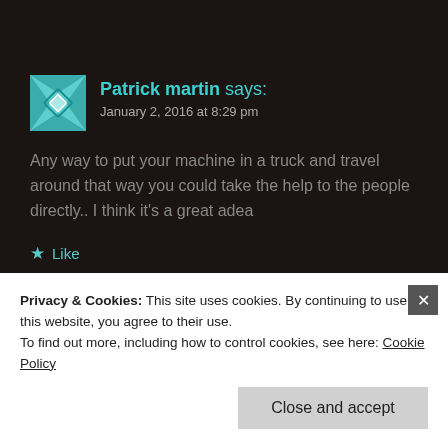Patrick martin says: January 2, 2016 at 8:29 pm
Any way to put your machine in a truck and travel around that way you could take the help to the people directly.. I think it's a great adea
Like
Reply
Privacy & Cookies: This site uses cookies. By continuing to use this website, you agree to their use.
To find out more, including how to control cookies, see here: Cookie Policy
Close and accept